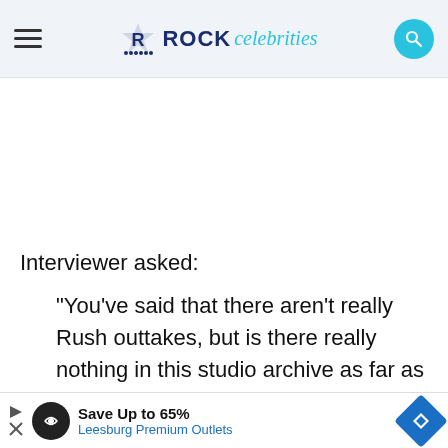ROCK celebrities
Interviewer asked:
“You’ve said that there aren’t really Rush outtakes, but is there really nothing in this studio archive as far as perhaps different
[Figure (other): Advertisement banner: Save Up to 65% Leesburg Premium Outlets]